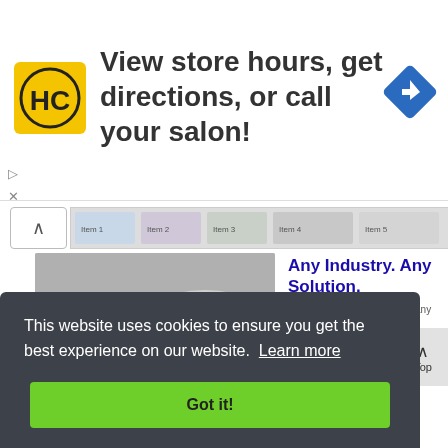[Figure (screenshot): HC logo yellow square with black HC text, advertisement banner for salon hours]
View store hours, get directions, or call your salon!
[Figure (screenshot): Navigation/directions diamond icon in blue]
[Figure (photo): Roll of insulation/tape material product image]
Any Industry. Any Solution.
Ad The Zippertubing Company
[Figure (screenshot): Product packaging box image partial]
Deliver LV Packaging Vectors
This website uses cookies to ensure you get the best experience on our website.  Learn more
Got it!